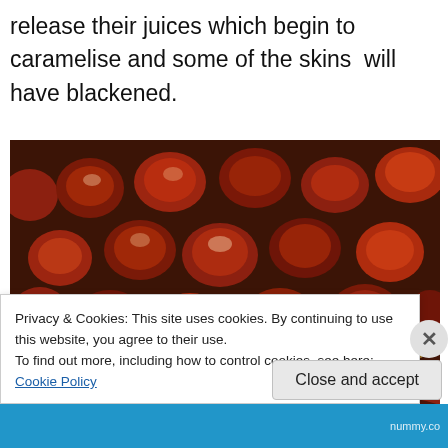release their juices which begin to caramelise and some of the skins  will have blackened.
[Figure (photo): Close-up photo of roasted cherry tomatoes on a baking tray, caramelised and some with blackened skins, glistening with juices.]
Privacy & Cookies: This site uses cookies. By continuing to use this website, you agree to their use.
To find out more, including how to control cookies, see here: Cookie Policy
Close and accept